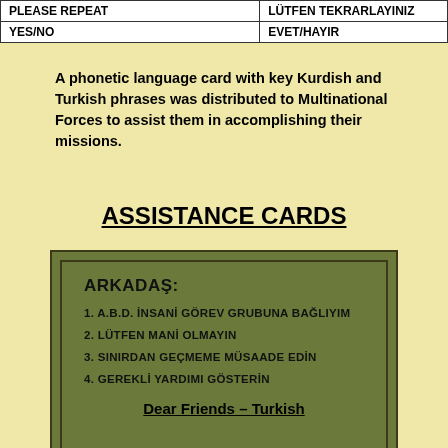| PLEASE REPEAT | LÜTFEN TEKRARLAYINIZ |
| --- | --- |
| YES/NO | EVET/HAYIR |
A phonetic language card with key Kurdish and Turkish phrases was distributed to Multinational Forces to assist them in accomplishing their missions.
ASSISTANCE CARDS
[Figure (other): Green assistance card in Turkish listing 4 numbered phrases: ARKADAŞ: 1. A.B.D. İNSANİ GÖREV GRUBUNA BAĞLIYIM 2. LÜTFEN MANİ OLMAYIN 3. SINIRDAN GEÇMEME MÜSAADE EDİN 4. GEREKLİ YARDIMI GÖSTERİN]
Dear Friends – Turkish